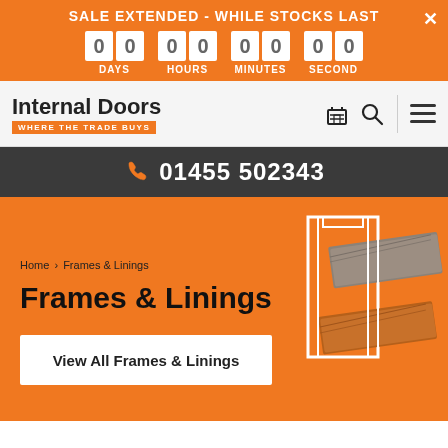SALE EXTENDED - WHILE STOCKS LAST
[Figure (screenshot): Countdown timer showing 00 DAYS, 00 HOURS, 00 MINUTES, 00 SECOND]
[Figure (logo): Internal Doors - Where The Trade Buys logo]
01455 502343
Home > Frames & Linings
Frames & Linings
View All Frames & Linings